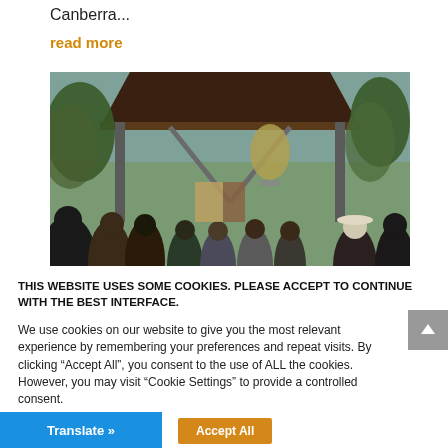Canberra...
read more
[Figure (photo): Outdoor crowd of people gathered under a large wooden and metal pavilion structure with a bell, surrounded by trees, viewed from behind.]
THIS WEBSITE USES SOME COOKIES. PLEASE ACCEPT TO CONTINUE WITH THE BEST INTERFACE.
We use cookies on our website to give you the most relevant experience by remembering your preferences and repeat visits. By clicking “Accept All”, you consent to the use of ALL the cookies. However, you may visit “Cookie Settings” to provide a controlled consent.
Cookie Settings
Accept All
Translate »